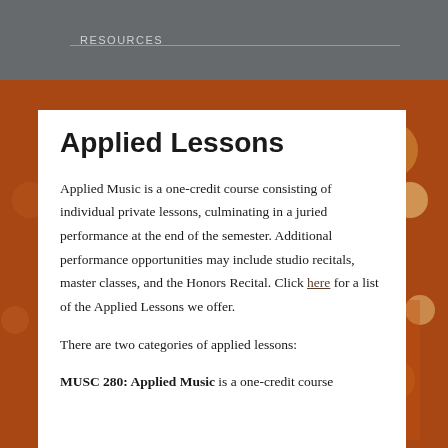RESOURCES
Applied Lessons
Applied Music is a one-credit course consisting of individual private lessons, culminating in a juried performance at the end of the semester. Additional performance opportunities may include studio recitals, master classes, and the Honors Recital. Click here for a list of the Applied Lessons we offer.
There are two categories of applied lessons:
MUSC 280: Applied Music is a one-credit course consisting of this option and more...